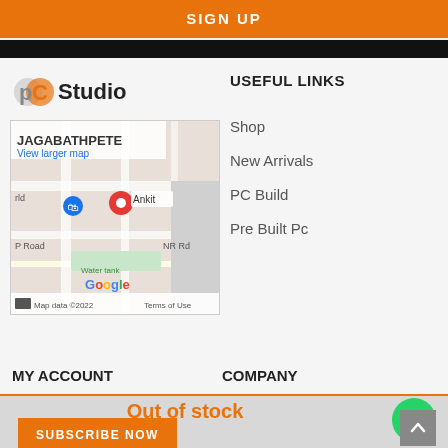SIGN UP
[Figure (logo): PC Studio logo with stylized PC letters in orange/grey and the word Studio in black]
[Figure (map): Google Maps embed showing location near JAGABATHPETE area with a red pin marker labeled Ankit, blue location pin, Water tank label, NR Road, P Road, Google branding, Map data 2022, Terms of Use]
USEFUL LINKS
Shop
New Arrivals
PC Build
Pre Built Pc
MY ACCOUNT
COMPANY
Out of stock
SUBSCRIBE NOW